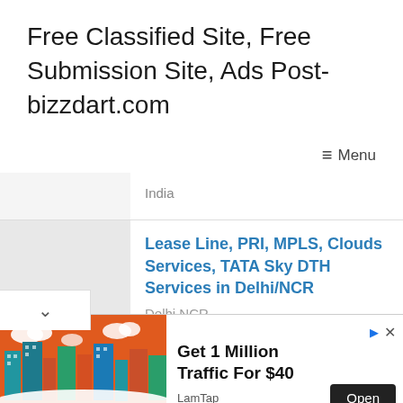Free Classified Site, Free Submission Site, Ads Post- bizzdart.com
≡ Menu
India
Lease Line, PRI, MPLS, Clouds Services, TATA Sky DTH Services in Delhi/NCR
Delhi NCR
[Figure (screenshot): Advertisement banner: city skyline illustration on orange background with text 'Get 1 Million Traffic For $40', Open button, LamTap source label]